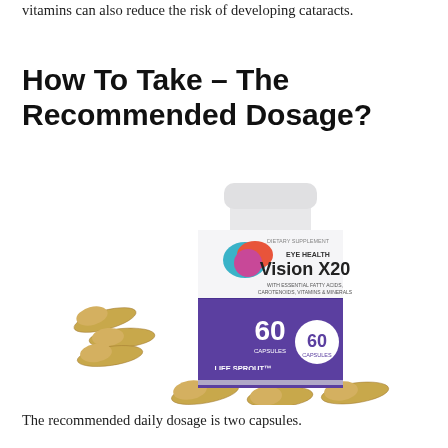vitamins can also reduce the risk of developing cataracts.
How To Take – The Recommended Dosage?
[Figure (photo): Product photo of Vision X20 Eye Health supplement bottle (60 capsules) by Life Sprout, with several golden-brown capsules scattered around the base of the bottle.]
The recommended daily dosage is two capsules.